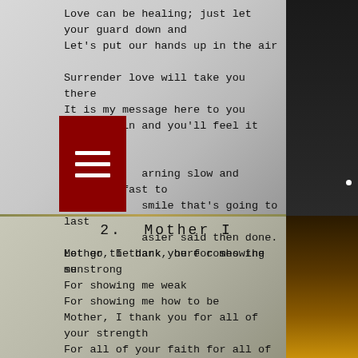Love can be healing; just let your guard down and
Let's put our hands up in the air

Surrender love will take you there
It is my message here to you
Let love in and you'll feel it too

[menu icon] arning slow and learning fast to
smile that's going to last
asier said then done. Let go the dark, here comes the sun
2. Mother I
Mother, I thank you for showing me strong
For showing me weak
For showing me how to be
Mother, I thank you for all of your strength
For all of your faith for all of your everything